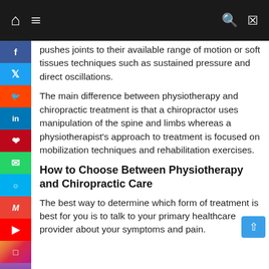Navigation bar with home, menu, search, and shuffle icons
pushes joints to their available range of motion or soft tissues techniques such as sustained pressure and direct oscillations.
The main difference between physiotherapy and chiropractic treatment is that a chiropractor uses manipulation of the spine and limbs whereas a physiotherapist's approach to treatment is focused on mobilization techniques and rehabilitation exercises.
How to Choose Between Physiotherapy and Chiropractic Care
The best way to determine which form of treatment is best for you is to talk to your primary healthcare provider about your symptoms and pain.